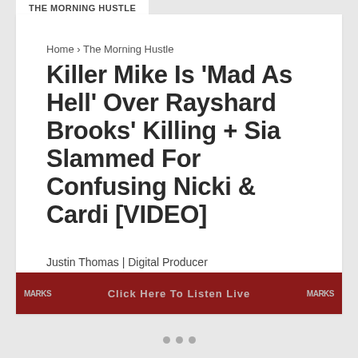THE MORNING HUSTLE
Home › The Morning Hustle
Killer Mike Is 'Mad As Hell' Over Rayshard Brooks' Killing + Sia Slammed For Confusing Nicki & Cardi [VIDEO]
Justin Thomas | Digital Producer
[Figure (photo): Red advertisement banner with logos and 'Click Here To Listen Live' text]